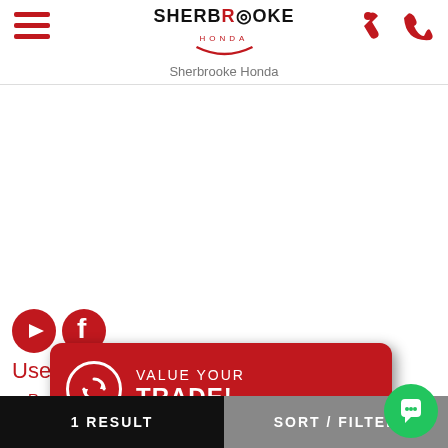[Figure (logo): Sherbrooke Honda logo with hamburger menu icon and tool/phone icons]
Sherbrooke Honda
[Figure (illustration): YouTube and Facebook social media icons in red]
Useful buying tools
Request price
After sales service
Specifications (partially obscured)
[Figure (infographic): Red rounded rectangle banner with refresh icon and text VALUE YOUR TRADE!]
New Cars
1 RESULT    SORT / FILTER